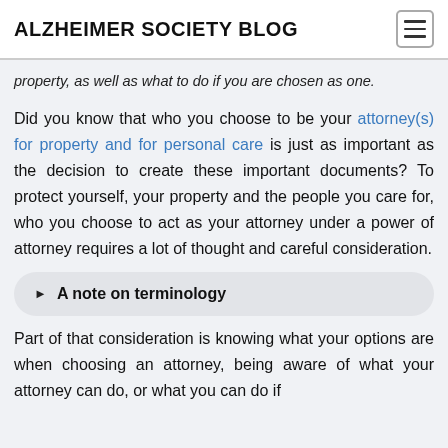ALZHEIMER SOCIETY BLOG
property, as well as what to do if you are chosen as one.
Did you know that who you choose to be your attorney(s) for property and for personal care is just as important as the decision to create these important documents? To protect yourself, your property and the people you care for, who you choose to act as your attorney under a power of attorney requires a lot of thought and careful consideration.
A note on terminology
Part of that consideration is knowing what your options are when choosing an attorney, being aware of what your attorney can do, or what you can do if